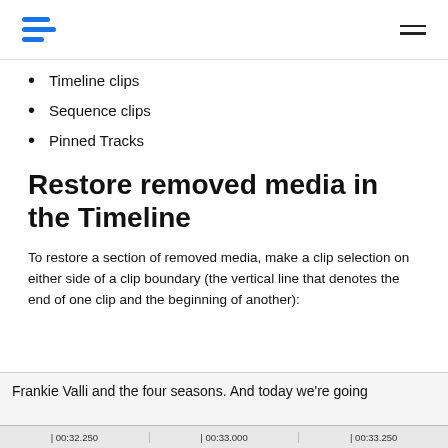Timeline clips
Sequence clips
Pinned Tracks
Restore removed media in the Timeline
To restore a section of removed media, make a clip selection on either side of a clip boundary (the vertical line that denotes the end of one clip and the beginning of another):
[Figure (screenshot): Screenshot of a video timeline showing a clip with audio 'Frankie Valli and the four seasons. And today we're going' with timecodes 00:32.250, 00:33.000, 00:33.250 visible on the timeline bar.]